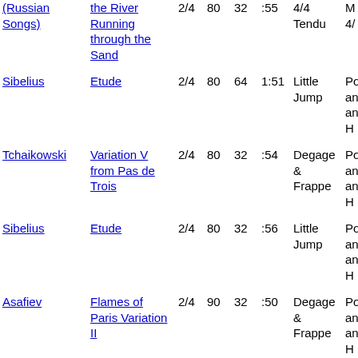| Composer | Title | Meter | Tempo | Measures | Time | Step | Extra |
| --- | --- | --- | --- | --- | --- | --- | --- |
| (Russian Songs) | the River Running through the Sand | 2/4 | 80 | 32 | :55 | 4/4 Tendu | M 4/ |
| Sibelius | Etude | 2/4 | 80 | 64 | 1:51 | Little Jump | Po an an H |
| Tchaikowski | Variation V from Pas de Trois | 2/4 | 80 | 32 | :54 | Degage & Frappe | Po an an H |
| Sibelius | Etude | 2/4 | 80 | 32 | :56 | Little Jump | Po an an H |
| Asafiev | Flames of Paris Variation II | 2/4 | 90 | 32 | :50 | Degage & Frappe | Po an an H |
|  | Fille Mal Garde | 2/4 | 90 | 16 |  | Degage & Frappe | Po an an H |